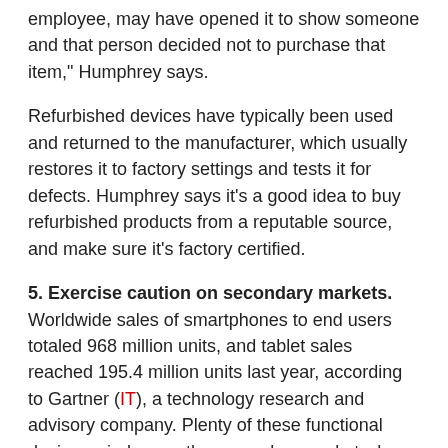employee, may have opened it to show someone and that person decided not to purchase that item," Humphrey says.
Refurbished devices have typically been used and returned to the manufacturer, which usually restores it to factory settings and tests it for defects. Humphrey says it's a good idea to buy refurbished products from a reputable source, and make sure it's factory certified.
5. Exercise caution on secondary markets. Worldwide sales of smartphones to end users totaled 968 million units, and tablet sales reached 195.4 million units last year, according to Gartner (IT), a technology research and advisory company. Plenty of these functional devices wind up on the secondary market when the owner gets tired of them or decides to upgrade.